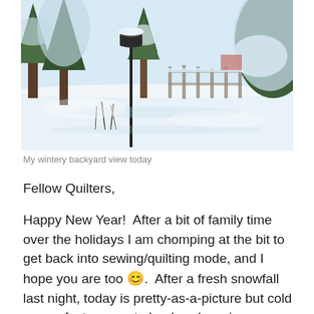[Figure (photo): A winter backyard scene with snow-covered evergreen trees, a bird feeder on a pole, and a snowy landscape under bright sunlight.]
My wintery backyard view today
Fellow Quilters,
Happy New Year!  After a bit of family time over the holidays I am chomping at the bit to get back into sewing/quilting mode, and I hope you are too 😊.  After a fresh snowfall last night, today is pretty-as-a-picture but cold – a perfect reason to hunker down in my sewing